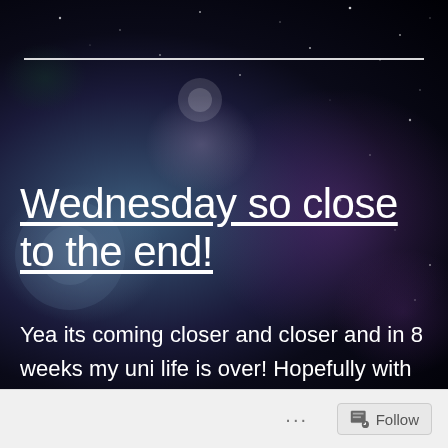[Figure (illustration): Dark space/galaxy background with bokeh light effects in purple, blue, and green tones. A horizontal white line sits near the top.]
Wednesday so close to the end!
Yea its coming closer and closer and in 8 weeks my uni life is over! Hopefully with a degree under my helt and my head held high! I am by no means not proud of what i have
Follow ...